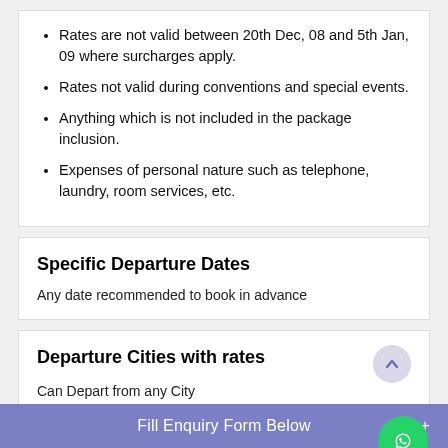Rates are not valid between 20th Dec, 08 and 5th Jan, 09 where surcharges apply.
Rates not valid during conventions and special events.
Anything which is not included in the package inclusion.
Expenses of personal nature such as telephone, laundry, room services, etc.
Specific Departure Dates
Any date recommended to book in advance
Departure Cities with rates
Can Depart from any City
Payments Terms
Fill Enquiry Form Below +